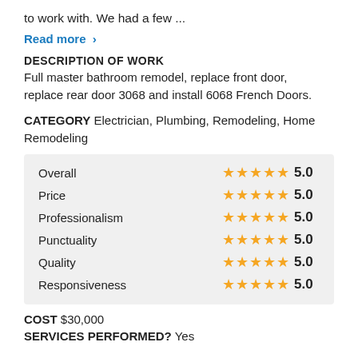to work with. We had a few ...
Read more ›
DESCRIPTION OF WORK
Full master bathroom remodel, replace front door, replace rear door 3068 and install 6068 French Doors.
CATEGORY Electrician, Plumbing, Remodeling, Home Remodeling
| Category | Stars | Score |
| --- | --- | --- |
| Overall | ★★★★★ | 5.0 |
| Price | ★★★★★ | 5.0 |
| Professionalism | ★★★★★ | 5.0 |
| Punctuality | ★★★★★ | 5.0 |
| Quality | ★★★★★ | 5.0 |
| Responsiveness | ★★★★★ | 5.0 |
COST $30,000
SERVICES PERFORMED? Yes